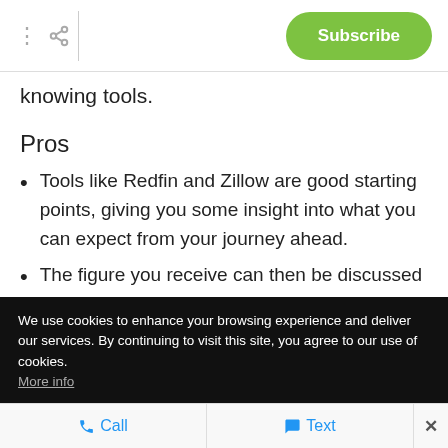Subscribe
knowing tools.
Pros
Tools like Redfin and Zillow are good starting points, giving you some insight into what you can expect from your journey ahead.
The figure you receive can then be discussed with a
We use cookies to enhance your browsing experience and deliver our services. By continuing to visit this site, you agree to our use of cookies. More info
Call  Text